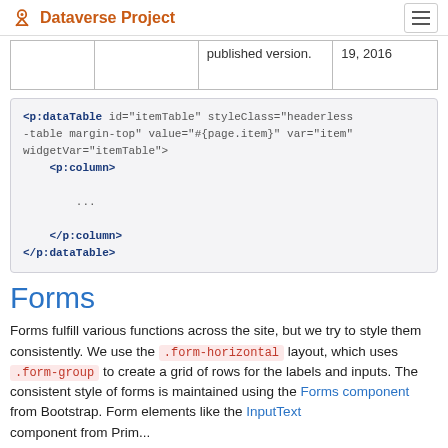Dataverse Project
|  |  | published version. | 19, 2016 |
<p:dataTable id="itemTable" styleClass="headerless-table margin-top" value="#{page.item}" var="item" widgetVar="itemTable">
    <p:column>
        ...
    </p:column>
</p:dataTable>
Forms
Forms fulfill various functions across the site, but we try to style them consistently. We use the .form-horizontal layout, which uses .form-group to create a grid of rows for the labels and inputs. The consistent style of forms is maintained using the Forms component from Bootstrap. Form elements like the InputText component from PrimeFaces are also registered...